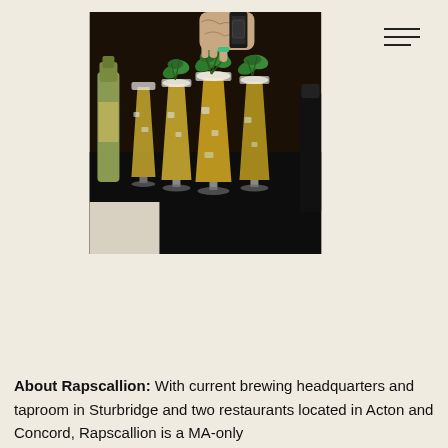[Figure (photo): Photo of a bartender's tattooed hand placing mint garnish on a row of tall cocktail glasses filled with golden/yellow drinks on a dark table, with a bottle visible on the left side.]
About Rapscallion: With current brewing headquarters and taproom in Sturbridge and two restaurants located in Acton and Concord, Rapscallion is a MA-only